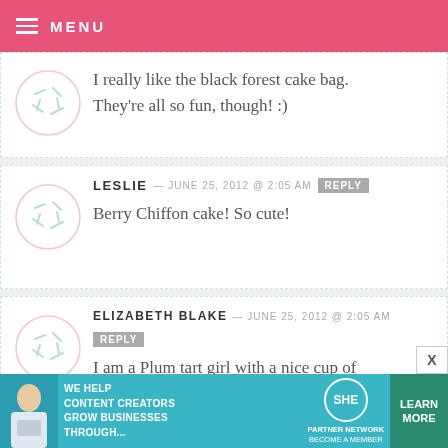MENU
I really like the black forest cake bag. They're all so fun, though! :)
LESLIE — JUNE 25, 2012 @ 2:05 AM
Berry Chiffon cake! So cute!
ELIZABETH BLAKE — JUNE 25, 2012 @ 2:05 AM
I am a Plum tart girl with a nice cup of
[Figure (infographic): SHE Media partner network advertisement banner: WE HELP CONTENT CREATORS GROW BUSINESSES THROUGH... SHE PARTNER NETWORK BECOME A MEMBER. LEARN MORE button.]